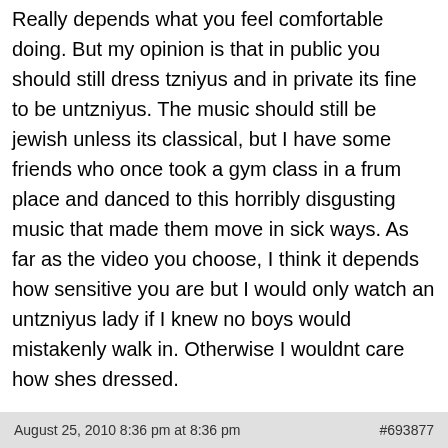Really depends what you feel comfortable doing. But my opinion is that in public you should still dress tzniyus and in private its fine to be untzniyus. The music should still be jewish unless its classical, but I have some friends who once took a gym class in a frum place and danced to this horribly disgusting music that made them move in sick ways. As far as the video you choose, I think it depends how sensitive you are but I would only watch an untzniyus lady if I knew no boys would mistakenly walk in. Otherwise I wouldnt care how shes dressed.
August 25, 2010 8:36 pm at 8:36 pm   #693877
blinky   Participant
I agree with your post- except for the music part. I see anything wrong with using non jewish music- long s it doesnt sound like its coming from a real...